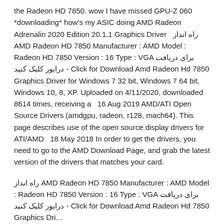the Radeon HD 7850. wow I have missed GPU-Z 060 *downloading* how's my ASIC doing AMD Radeon Adrenalin 2020 Edition 20.1.1 Graphics Driver  راه انداز AMD Radeon HD 7850 Manufacturer : AMD Model : Radeon HD 7850 Version : 16 Type : VGA برای دریافت درایور کلیک کنید - Click for Download Amd Radeon Hd 7850 Graphics Driver for Windows 7 32 bit, Windows 7 64 bit, Windows 10, 8, XP. Uploaded on 4/11/2020, downloaded 8614 times, receiving a  16 Aug 2019 AMD/ATI Open Source Drivers (amdgpu, radeon, r128, mach64). This page describes use of the open source display drivers for ATI/AMD  18 May 2018 In order to get the drivers, you need to go to the AMD Download Page, and grab the latest version of the drivers that matches your card.
راه انداز AMD Radeon HD 7850 Manufacturer : AMD Model : Radeon HD 7850 Version : 16 Type : VGA برای دریافت درایور کلیک کنید - Click for Download Amd Radeon Hd 7850 Graphics Dri...